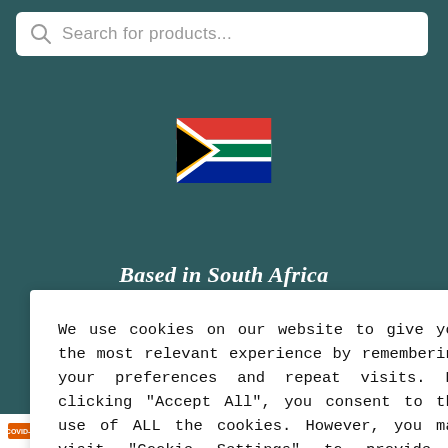[Figure (screenshot): Search bar with magnifying glass icon and placeholder text 'Search for products...' on a dark teal background]
[Figure (illustration): South African flag emoji/icon centered on the page]
Based in South Africa
We use cookies on our website to give you the most relevant experience by remembering your preferences and repeat visits. By clicking "Accept All", you consent to the use of ALL the cookies. However, you may visit "Cookie Settings" to provide a controlled consent.
Cookie Settings  Accept All
ained by Freelance IT